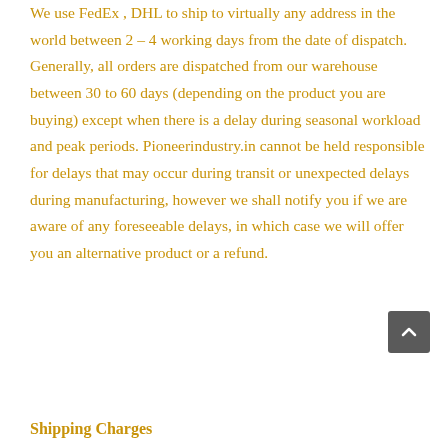We use FedEx , DHL to ship to virtually any address in the world between 2 – 4 working days from the date of dispatch. Generally, all orders are dispatched from our warehouse between 30 to 60 days (depending on the product you are buying) except when there is a delay during seasonal workload and peak periods. Pioneerindustry.in cannot be held responsible for delays that may occur during transit or unexpected delays during manufacturing, however we shall notify you if we are aware of any foreseeable delays, in which case we will offer you an alternative product or a refund.
Shipping Charges